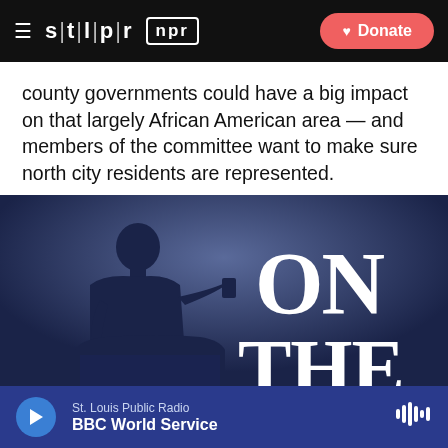stlpr | npr — Donate
county governments could have a big impact on that largely African American area — and members of the committee want to make sure north city residents are represented.
[Figure (photo): Dark blue/navy background image with a silhouette of a person at a podium/lectern on the left side, and large white serif text reading 'ON THE' on the right side. The image appears to be promotional art for a radio show or broadcast program.]
St. Louis Public Radio — BBC World Service